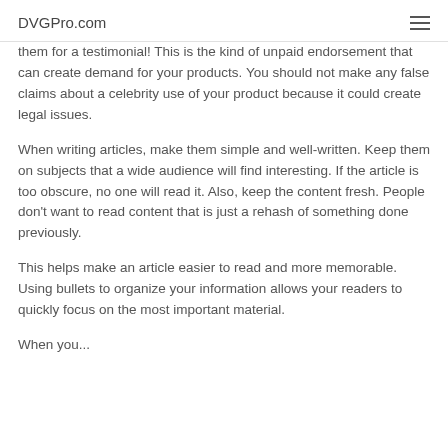DVGPro.com
them for a testimonial! This is the kind of unpaid endorsement that can create demand for your products. You should not make any false claims about a celebrity use of your product because it could create legal issues.
When writing articles, make them simple and well-written. Keep them on subjects that a wide audience will find interesting. If the article is too obscure, no one will read it. Also, keep the content fresh. People don't want to read content that is just a rehash of something done previously.
This helps make an article easier to read and more memorable. Using bullets to organize your information allows your readers to quickly focus on the most important material.
When you...